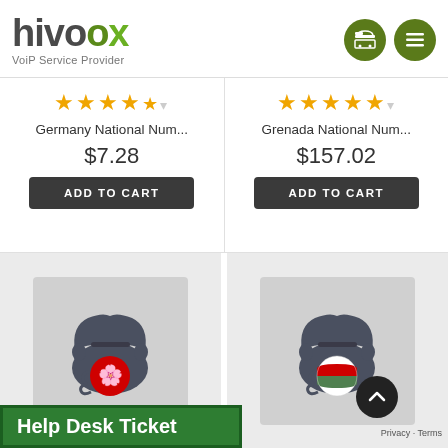[Figure (logo): Hivoox VoIP Service Provider logo with green accent on the x]
Germany National Num... $7.28
Grenada National Num... $157.02
[Figure (illustration): Telephone icon with Hong Kong flag circle]
[Figure (illustration): Telephone icon with Hungary flag circle]
Help Desk Ticket